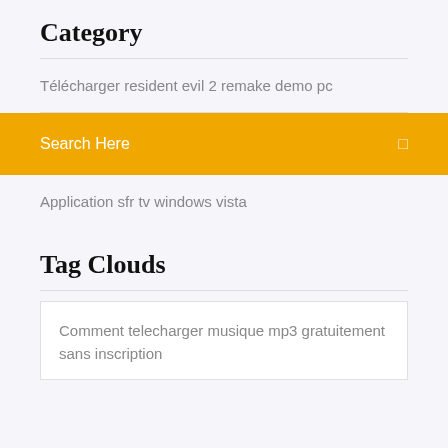Category
Télécharger resident evil 2 remake demo pc
Search Here
Application sfr tv windows vista
Tag Clouds
Comment telecharger musique mp3 gratuitement sans inscription